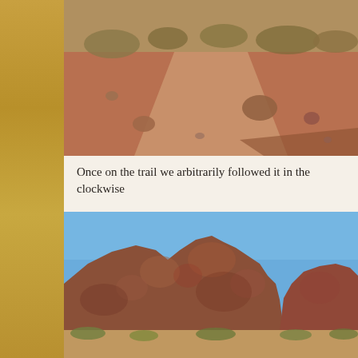[Figure (photo): Desert trail path with reddish-brown sandy ground, scattered rocks, sparse dry brush and shrubs, with a shadow visible in the lower right corner.]
Once on the trail we arbitrarily followed it in the clockwise
[Figure (photo): Rocky desert formation with large rounded reddish-brown boulders and rock formations against a clear blue sky, with sparse low desert vegetation at the base.]